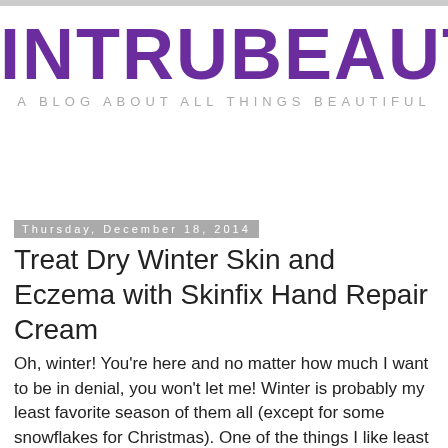[Figure (logo): INTRUBEAUTY blog logo in large purple distressed stamp-style text with tagline 'A BLOG ABOUT ALL THINGS BEAUTIFUL']
Thursday, December 18, 2014
Treat Dry Winter Skin and Eczema with Skinfix Hand Repair Cream
Oh, winter! You're here and no matter how much I want to be in denial, you won't let me! Winter is probably my least favorite season of them all (except for some snowflakes for Christmas). One of the things I like least about winter is dry skin! I live in Wisconsin and so there is really no escaping the brutal cold and inevitable dry skin that results. No matter how many hydrating baths I take or how much lotion I use, I